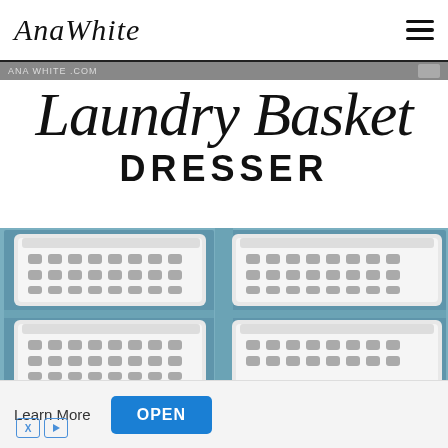AnaWhite
Laundry Basket DRESSER
[Figure (photo): Blue painted wooden dresser with white plastic laundry baskets stored in cubby slots, showing two columns of two baskets each]
Learn More OPEN